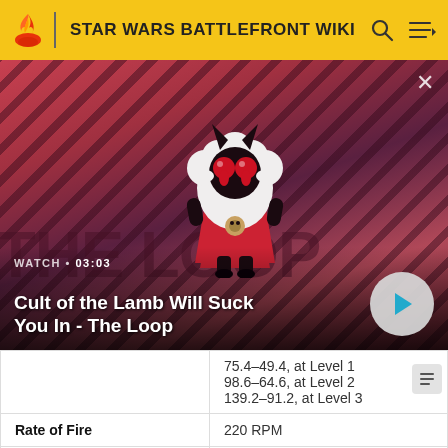STAR WARS BATTLEFRONT WIKI
[Figure (screenshot): Video thumbnail for 'Cult of the Lamb Will Suck You In - The Loop' showing an animated lamb character with devil horns against a red diagonal striped background. Shows WATCH • 03:03 label and a play button.]
|  |  |
| --- | --- |
|  | 75.4–49.4, at Level 1
98.6–64.6, at Level 2
139.2–91.2, at Level 3 |
| Rate of Fire | 220 RPM |
| Damage per Second | 212.66–139.33 DPS |